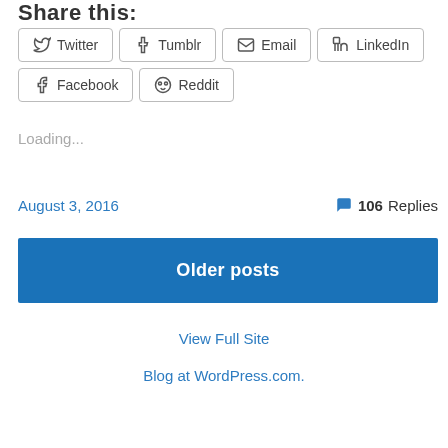Share this:
Twitter
Tumblr
Email
LinkedIn
Facebook
Reddit
Loading...
August 3, 2016
106 Replies
Older posts
View Full Site
Blog at WordPress.com.